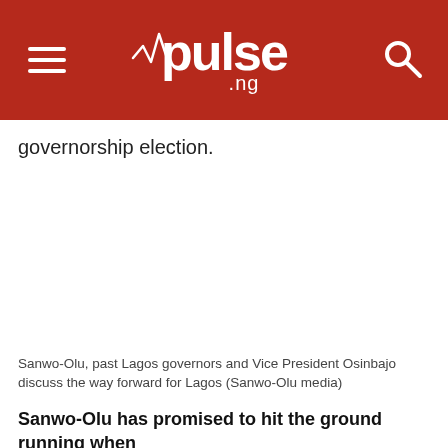pulse.ng
governorship election.
[Figure (photo): Blank/white image placeholder area for photo of Sanwo-Olu, past Lagos governors and Vice President Osinbajo]
Sanwo-Olu, past Lagos governors and Vice President Osinbajo discuss the way forward for Lagos (Sanwo-Olu media)
Sanwo-Olu has promised to hit the ground running when